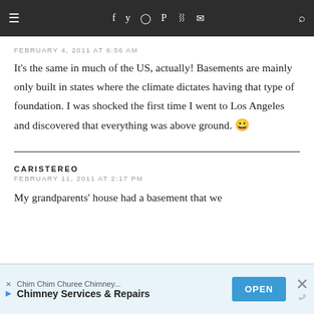≡  f  Twitter  Instagram  Pinterest  RSS  Mail  Search
FEBRUARY 4, 2011 AT 6:56 AM
It's the same in much of the US, actually! Basements are mainly only built in states where the climate dictates having that type of foundation. I was shocked the first time I went to Los Angeles and discovered that everything was above ground. 😀
CARISTEREO
FEBRUARY 11, 2011 AT 2:17 PM
My grandparents' house had a basement that we
[Figure (other): Advertisement banner: Chim Chim Churee Chimney... Chimney Services & Repairs with OPEN button]